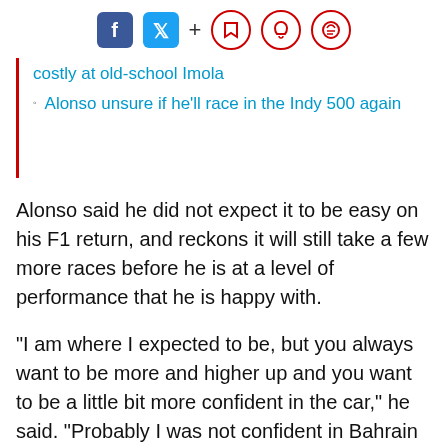f [twitter] + [bookmark] [bell] [comment]
costly at old-school Imola
Alonso unsure if he'll race in the Indy 500 again
Alonso said he did not expect it to be easy on his F1 return, and reckons it will still take a few more races before he is at a level of performance that he is happy with.
“I am where I expected to be, but you always want to be more and higher up and you want to be a little bit more confident in the car,” he said. “Probably I was not confident in Bahrain or confident here, and I will not be confident in Portimao.
“This is not a feeling that goes from day to night and